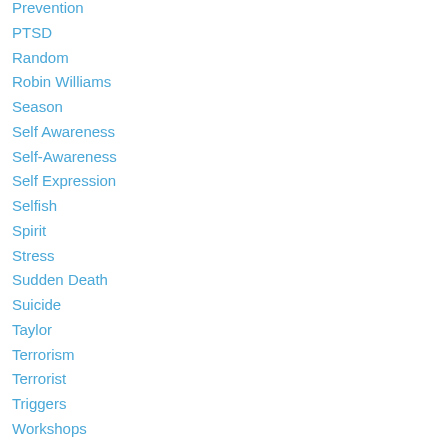Prevention
PTSD
Random
Robin Williams
Season
Self Awareness
Self-Awareness
Self Expression
Selfish
Spirit
Stress
Sudden Death
Suicide
Taylor
Terrorism
Terrorist
Triggers
Workshops
Writing
RSS Feed